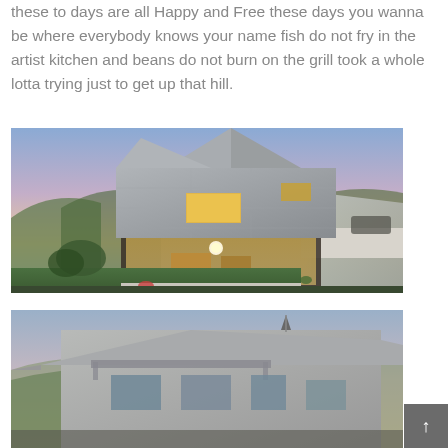these to days are all Happy and Free these days you wanna be where everybody knows your name fish do not fry in the artist kitchen and beans do not burn on the grill took a whole lotta trying just to get up that hill.
[Figure (photo): Exterior photograph of a modern concrete house at dusk, showing a two-story concrete structure with illuminated windows, glass lower level revealing interior dining area, green lawn, and a hillside landscape in the background with a colorful sunset sky.]
[Figure (photo): Partial exterior photograph of another building or the same house from a different angle, showing roofline against a dusky sky, partially cut off at the bottom of the page.]